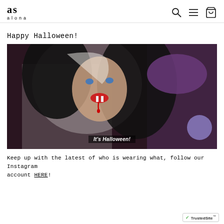as alona [logo with search, menu, and cart icons]
Happy Halloween!
[Figure (photo): A woman dressed as a vampire bride with black hair, white veil, red lips with fake fangs and blood dripping, wearing white dress. Text overlay reads: It's Halloween!]
Keep up with the latest of who is wearing what, follow our Instagram account HERE!